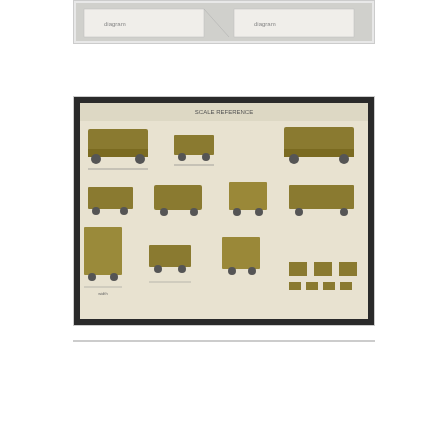[Figure (photo): Partially visible image at top, appears to show printed documents or instruction sheets with line drawings.]
[Figure (photo): Photo of a printed sheet showing olive/khaki colored silhouettes of various military vehicles (trucks, jeeps, cars) with dimension annotations, on a tan background.]
[Figure (photo): Photo of a printed sheet showing dark-colored silhouettes of RAF/military personnel figures (one on bicycle, three standing, one kneeling) along with color swatches and base segment in grey and brown tones.]
[Figure (photo): Photo of a printed sheet titled 'Diorama Base & RAF Personnel Figures' showing a grey and brown diorama base segment with color swatches below it.]